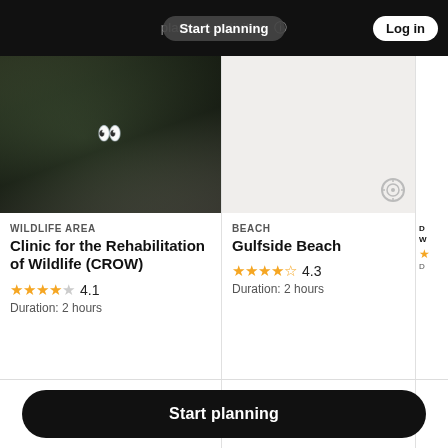Start planning | places & activities | Log in
[Figure (photo): Blurred wildlife photo with binoculars icon overlay]
WILDLIFE AREA
Clinic for the Rehabilitation of Wildlife (CROW)
★★★★☆ 4.1
Duration: 2 hours
[Figure (photo): Beach card image (blank/light grey)]
BEACH
Gulfside Beach
★★★★½ 4.3
Duration: 2 hours
Start planning